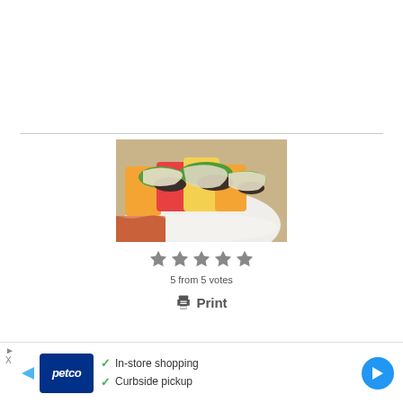[Figure (photo): A white baking dish containing stuffed peppers topped with melted cheese, with colorful bell peppers visible underneath.]
5 from 5 votes
Print
[Figure (other): Petco advertisement banner showing In-store shopping and Curbside pickup options]